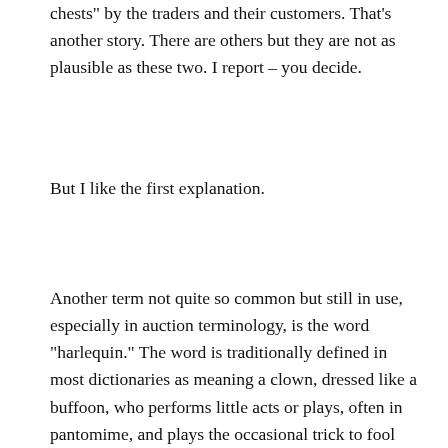chests" by the traders and their customers. That's another story. There are others but they are not as plausible as these two. I report – you decide.
But I like the first explanation.
Another term not quite so common but still in use, especially in auction terminology, is the word "harlequin." The word is traditionally defined in most dictionaries as meaning a clown, dressed like a buffoon, who performs little acts or plays, often in pantomime, and plays the occasional trick to fool the audience. That's where the use of the term comes into furniture – to play a trick or to fool someone. The term is most often used with reference to a set of chairs, known as a "harlequin set." This means that the individual members of the set, while similar in age, style and overall appearance, do not exactly match. They do not comprise what we commonly think of as a set. This isn't necessarily meant to fool a potential buyer but it is a